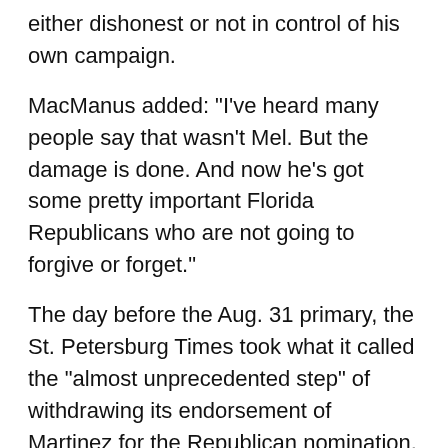either dishonest or not in control of his own campaign.
MacManus added: "I've heard many people say that wasn't Mel. But the damage is done. And now he's got some pretty important Florida Republicans who are not going to forgive or forget."
The day before the Aug. 31 primary, the St. Petersburg Times took what it called the "almost unprecedented step" of withdrawing its endorsement of Martinez for the Republican nomination. "The Times is not willing to be associated with bigotry," its editorial said. The paper's liberal editorial board acknowledged that it agreed with McCollum "on very few issues" but called the 10-term former House member "a better choice for Republicans who care about the soul of their party."